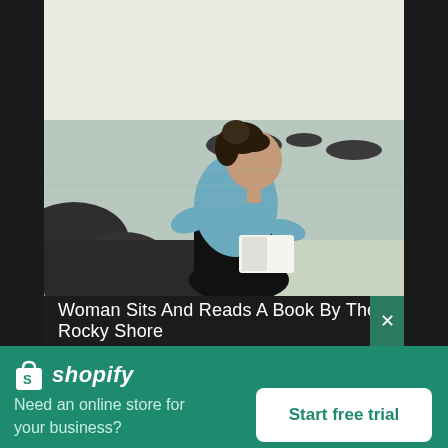[Figure (photo): A woman in a light blue off-shoulder top and dark pants sits on rocks by a rocky shoreline, reading a book. The background shows dark rocks, calm water, and a pale hazy sky.]
Woman Sits And Reads A Book By The Rocky Shore
[Figure (logo): Shopify logo — white shopping bag icon with an 'S' on it, followed by the word 'shopify' in white italic text]
Need an online store for your business?
Start free trial